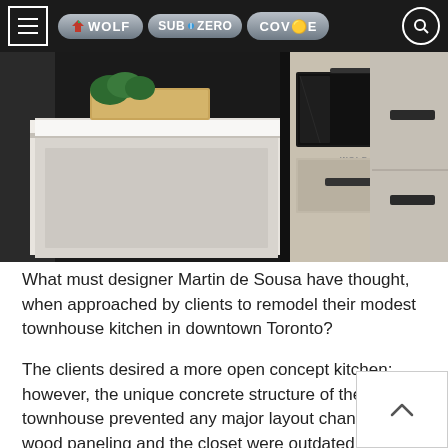[Figure (photo): Kitchen scene with Wolf appliance (oven/drawer unit) in stainless steel with cream/beige cabinetry, white countertop, and greenery in background. Navigation bar overlaid on top with Wolf, Sub-Zero, and Cove brand logos plus hamburger menu and search icon.]
What must designer Martin de Sousa have thought, when approached by clients to remodel their modest townhouse kitchen in downtown Toronto?
The clients desired a more open concept kitchen; however, the unique concrete structure of the townhouse prevented any major layout changes. The wood paneling and the closet were outdated and did not suit the client’s modern tastes. They wished for the kitchen to act as an entertainment area highlighting the existing Sub-Zero, Wolf, et Cove appliances inherited from the previous